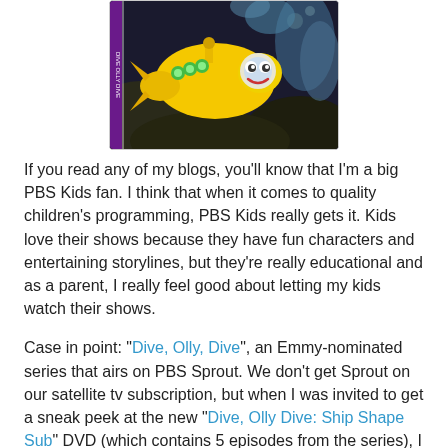[Figure (photo): DVD cover image showing a yellow cartoon submarine character with green headlights against an underwater dark rocky background, with a purple DVD case edge visible on the left.]
If you read any of my blogs, you'll know that I'm a big PBS Kids fan. I think that when it comes to quality children's programming, PBS Kids really gets it. Kids love their shows because they have fun characters and entertaining storylines, but they're really educational and as a parent, I really feel good about letting my kids watch their shows.
Case in point: "Dive, Olly, Dive", an Emmy-nominated series that airs on PBS Sprout. We don't get Sprout on our satellite tv subscription, but when I was invited to get a sneak peek at the new "Dive, Olly Dive: Ship Shape Sub" DVD (which contains 5 episodes from the series), I gladly said yes, even though we had never watched any of the episodes. And I wasn't disappointed. Dive, Olly, Dive reminds me of Jay Jay the Jet Plane set underwater. The show follows the adventures of two animated submarines, Olly and Beth. It